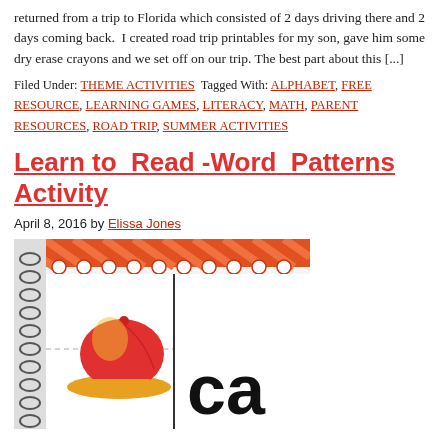returned from a trip to Florida which consisted of 2 days driving there and 2 days coming back.  I created road trip printables for my son, gave him some dry erase crayons and we set off on our trip. The best part about this [...]
Filed Under: THEME ACTIVITIES  Tagged With: ALPHABET, FREE RESOURCE, LEARNING GAMES, LITERACY, MATH, PARENT RESOURCES, ROAD TRIP, SUMMER ACTIVITIES
Learn to Read -Word Patterns Activity
April 8, 2016 by Elissa Jones
[Figure (photo): Close-up photo of a word pattern activity card showing a cartoon baseball cap illustration on the left and the letters 'ca' on the right, with an orange decorative border and spiral binding visible on the left edge.]